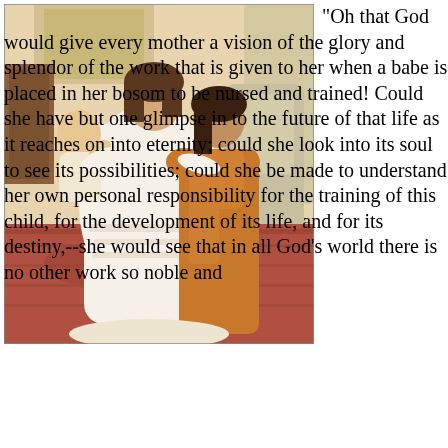[Figure (illustration): A painting depicting a woman in a white dress holding a baby, with a young girl in an orange dress standing beside her in a warmly lit interior room with patterned carpet.]
"Oh that God would give every mother a vision of the glory and splendor of the work that is given to her when a babe is placed in her bosom to be nursed and trained! Could she have but one glimpse in to the future of that life as it reaches on into eternity; could she look into its soul to see its possibilities; could she be made to understand her own personal responsibility for the training of this child, for the development of its life, and for its destiny,--she would see that in all God's world there is no other work so noble and